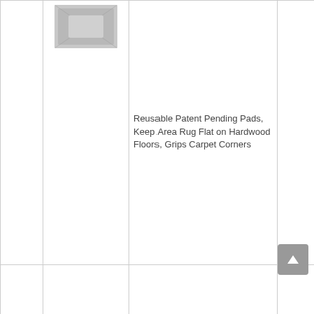| # | Image | Product | Score | Action |
| --- | --- | --- | --- | --- |
|  |  | Reusable Patent Pending Pads, Keep Area Rug Flat on Hardwood Floors, Grips Carpet Corners |  | Check Price |
| 4 | [image] | Sollifa Rug Tape,16 Pcs Dual Sided Washable Removable Rug Stopper Grip Your Area Rug, Non Slip Adhesive Prevent Curl for Hardwood Floors Grip Carpet Corners | 9.6 | Check Price |
|  |  | Carpet Tape Double Sided – |  |  |